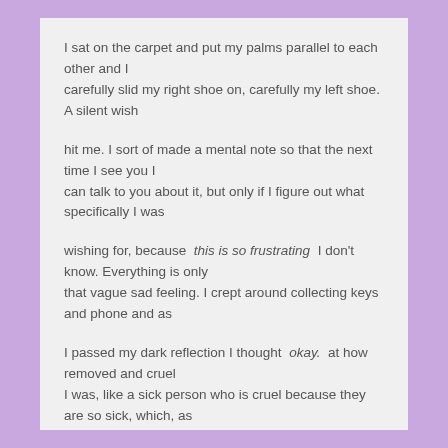I sat on the carpet and put my palms parallel to each other and I
carefully slid my right shoe on, carefully my left shoe. A silent wish
hit me. I sort of made a mental note so that the next time I see you I
can talk to you about it, but only if I figure out what specifically I was
wishing for, because this is so frustrating I don't know. Everything is only
that vague sad feeling. I crept around collecting keys and phone and as
I passed my dark reflection I thought okay. at how removed and cruel
I was, like a sick person who is cruel because they are so sick, which, as